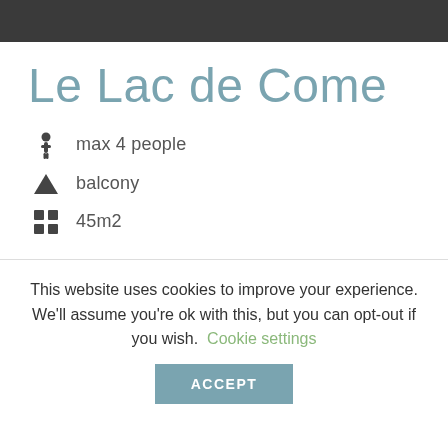Le Lac de Come
max 4 people
balcony
45m2
This website uses cookies to improve your experience. We'll assume you're ok with this, but you can opt-out if you wish. Cookie settings
ACCEPT